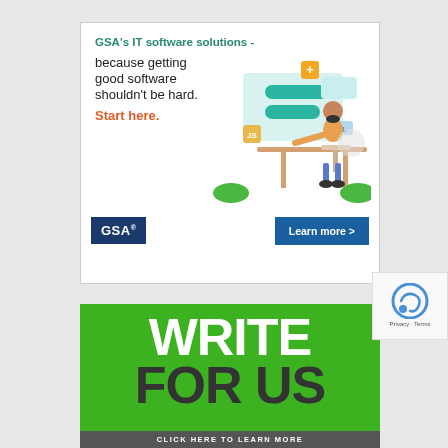[Figure (infographic): GSA IT software solutions advertisement with illustration of a person at a desk using software tools, with text: GSA's IT software solutions - because getting good software shouldn't be hard. Start here. GSA logo and Learn more > button.]
[Figure (infographic): Write For Us advertisement on green background with large white WRITE and dark FOR US text and CLICK HERE TO LEARN MORE banner at bottom.]